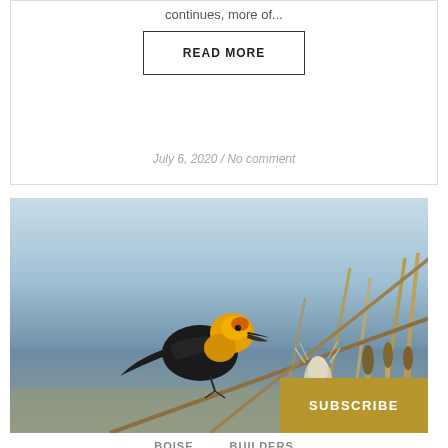continues, more of...
READ MORE
July 6, 2020 / No comment
[Figure (photo): A yellow-headed blackbird perched on cattail reeds against a blue-grey sky background. The bird has a vivid yellow head and black body. Below it are dried cattail seed heads.]
SUBSCRIBE
BOISE   BUILDERS